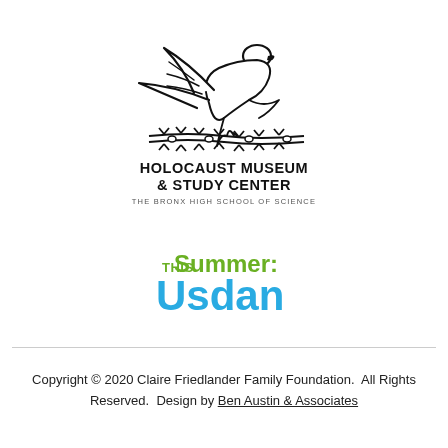[Figure (logo): Holocaust Museum & Study Center logo — a dove flying above barbed wire with text 'HOLOCAUST MUSEUM & STUDY CENTER / THE BRONX HIGH SCHOOL OF SCIENCE']
[Figure (logo): This Summer: Usdan logo — text 'THIS Summer: Usdan' in green and blue colors]
Copyright © 2020 Claire Friedlander Family Foundation.  All Rights Reserved.  Design by Ben Austin & Associates